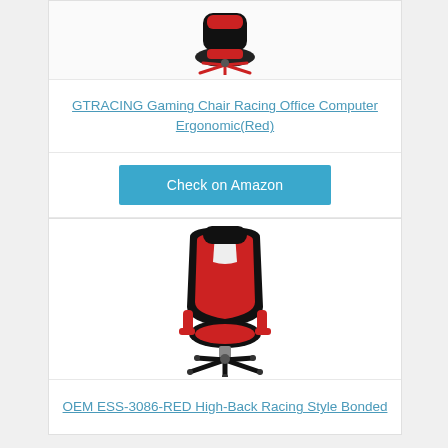[Figure (photo): GTRACING gaming chair with red accents viewed from above/behind on a five-star base]
GTRACING Gaming Chair Racing Office Computer Ergonomic(Red)
Check on Amazon
[Figure (photo): OEM ESS-3086-RED high-back racing style bonded leather office chair in red and black with flip-up armrests]
OEM ESS-3086-RED High-Back Racing Style Bonded